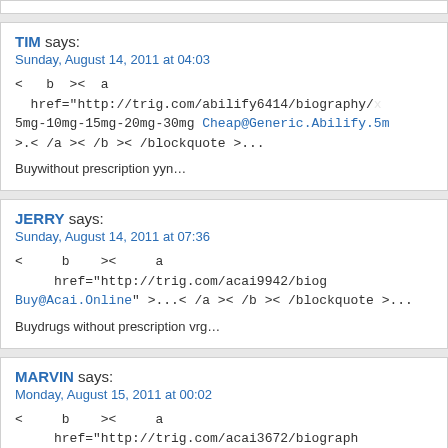TIM says: Sunday, August 14, 2011 at 04:03
< b >< a href="http://trig.com/abilify6414/biography/" 5mg-10mg-15mg-20mg-30mg Cheap@Generic.Abilify.5mg >.< /a >< /b >< /blockquote >...
Buywithout prescription yyn...
JERRY says: Sunday, August 14, 2011 at 07:36
< b >< a href="http://trig.com/acai9942/biog Buy@Acai.Online" >...< /a >< /b >< /blockquote >...
Buydrugs without prescription vrg...
MARVIN says: Monday, August 15, 2011 at 00:02
< b >< a href="http://trig.com/acai3672/biography Prescription Order@Acai.Without.Prescription" >.< /a ><
Buynow it lmg...